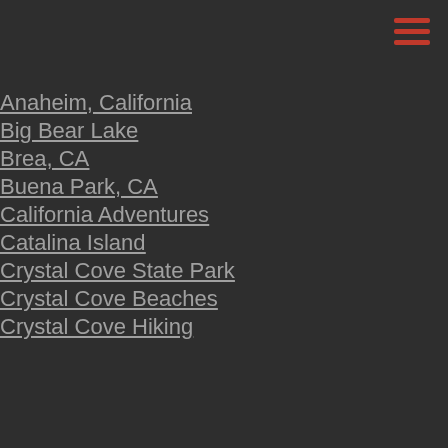[Figure (other): Hamburger menu icon with three red horizontal lines, top-right corner]
Anaheim, California
Big Bear Lake
Brea, CA
Buena Park, CA
California Adventures
Catalina Island
Crystal Cove State Park
Crystal Cove Beaches
Crystal Cove Hiking